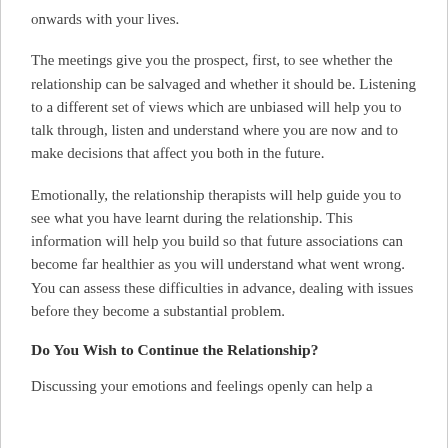onwards with your lives.
The meetings give you the prospect, first, to see whether the relationship can be salvaged and whether it should be. Listening to a different set of views which are unbiased will help you to talk through, listen and understand where you are now and to make decisions that affect you both in the future.
Emotionally, the relationship therapists will help guide you to see what you have learnt during the relationship. This information will help you build so that future associations can become far healthier as you will understand what went wrong. You can assess these difficulties in advance, dealing with issues before they become a substantial problem.
Do You Wish to Continue the Relationship?
Discussing your emotions and feelings openly can help a